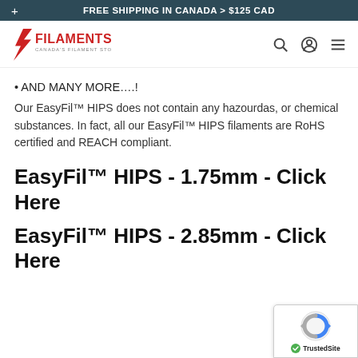FREE SHIPPING IN CANADA > $125 CAD
[Figure (logo): Filaments.ca logo - Canada's Filament Store with red lightning bolt icon]
• AND MANY MORE….!
Our EasyFil™ HIPS does not contain any hazourdas, or chemical substances. In fact, all our EasyFil™ HIPS filaments are RoHS certified and REACH compliant.
EasyFil™ HIPS - 1.75mm - Click Here
EasyFil™ HIPS - 2.85mm - Click Here
[Figure (logo): TrustedSite badge with reCAPTCHA logo]